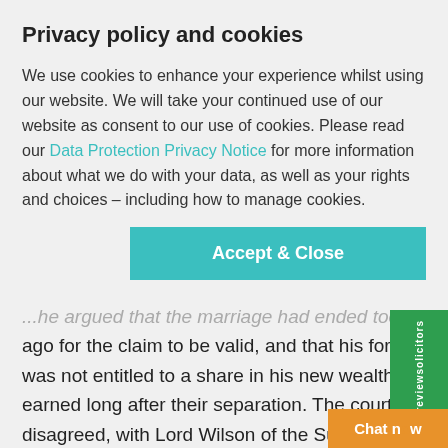Privacy policy and cookies
We use cookies to enhance your experience whilst using our website. We will take your continued use of our website as consent to our use of cookies. Please read our Data Protection Privacy Notice for more information about what we do with your data, as well as your rights and choices – including how to manage cookies.
[Figure (other): Accept & Close button (teal/cyan background, white bold text)]
...he argued that the marriage had ended too long ago for the claim to be valid, and that his former wife was not entitled to a share in his new wealth as it was earned long after their separation. The court disagreed, with Lord Wilson of the Supreme Court emphasising "the potentially life-long obligations which attend a marriage".
Cases such as this highlight the need for a fair financial settlement, no matter what your cu...
[Figure (logo): reviewsolicitors green vertical badge on right side]
[Figure (other): Orange Chat button at bottom right]